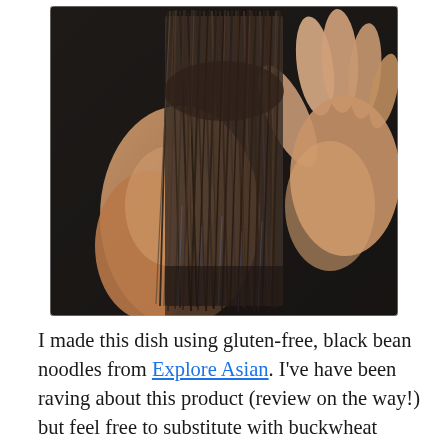[Figure (photo): A hand holding a bundle of dark brown/black dry noodles (black bean noodles) against a dark background. The noodles are thin and strand-like, fanning out at the bottom.]
I made this dish using gluten-free, black bean noodles from Explore Asian. I've have been raving about this product (review on the way!) but feel free to substitute with buckwheat